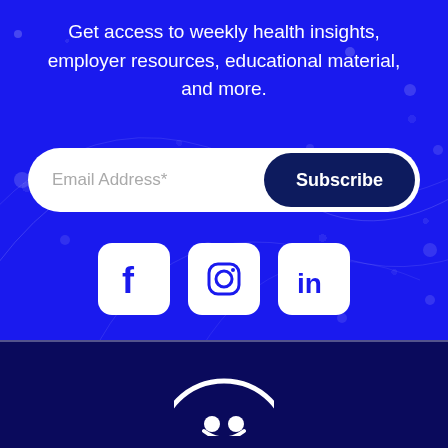Get access to weekly health insights, employer resources, educational material, and more.
[Figure (infographic): Email subscription bar with placeholder 'Email Address*' on the left and a dark navy 'Subscribe' button on the right, all inside a white pill-shaped container on a bright blue background.]
[Figure (infographic): Three social media icons (Facebook, Instagram, LinkedIn) displayed as white square icons with rounded corners and blue logos, centered on the blue background.]
[Figure (logo): Bottom dark navy section with a partial white circular logo icon visible at the bottom center.]